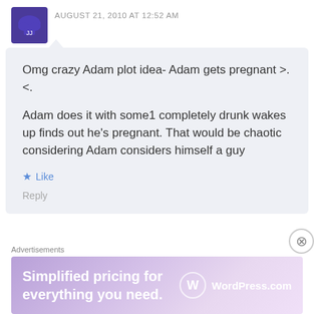AUGUST 21, 2010 AT 12:52 AM
Omg crazy Adam plot idea- Adam gets pregnant >.<.

Adam does it with some1 completely drunk wakes up finds out he's pregnant. That would be chaotic considering Adam considers himself a guy
Like
Reply
idonthaveaname:)
AUGUST 22, 2010 AT 8:31 PM
[Figure (other): Advertisement banner: Simplified pricing for everything you need. WordPress.com]
Advertisements